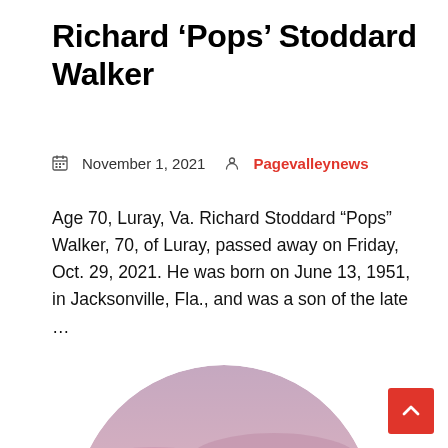Richard ‘Pops’ Stoddard Walker
November 1, 2021   Pagevalleynews
Age 70, Luray, Va. Richard Stoddard “Pops” Walker, 70, of Luray, passed away on Friday, Oct. 29, 2021. He was born on June 13, 1951, in Jacksonville, Fla., and was a son of the late …
[Figure (photo): Circular cropped photo showing a sunset sky with pink, purple, and orange clouds and warm light on the horizon.]